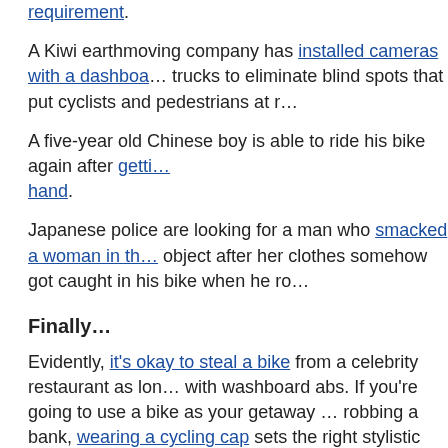A Kiwi earthmoving company has installed cameras with a dashboa… trucks to eliminate blind spots that put cyclists and pedestrians at r…
A five-year old Chinese boy is able to ride his bike again after getti… hand.
Japanese police are looking for a man who smacked a woman in th… object after her clothes somehow got caught in his bike when he ro…
Finally…
Evidently, it's okay to steal a bike from a celebrity restaurant as lon… with washboard abs. If you're going to use a bike as your getaway … robbing a bank, wearing a cycling cap sets the right stylistic tone.
And who says beautiful bikes don't grow on trees?
………..
Thanks to Wes High and Matthew Robertson for their donations t…